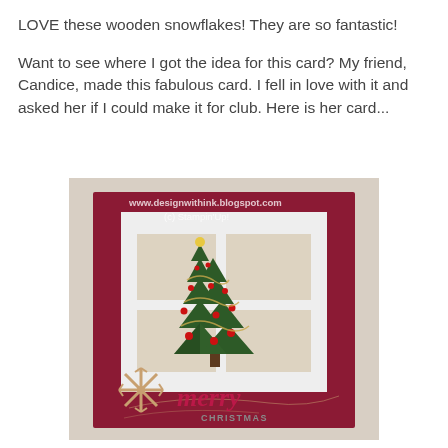LOVE these wooden snowflakes!  They are so fantastic!
Want to see where I got the idea for this card?  My friend, Candice, made this fabulous card.  I fell in love with it and asked her if I could make it for club.  Here is her card...
[Figure (photo): A handmade Christmas card featuring a dark red/maroon card base with a white window frame die-cut showing a green Christmas tree decorated with red ornaments and gold tinsel. A wooden snowflake embellishment is placed at the bottom left, and cursive 'merry' text with 'CHRISTMAS' beneath it appears at the bottom. The photo has a watermark reading 'www.designwithink.blogspot.com' and '(c) Stampin Up!']